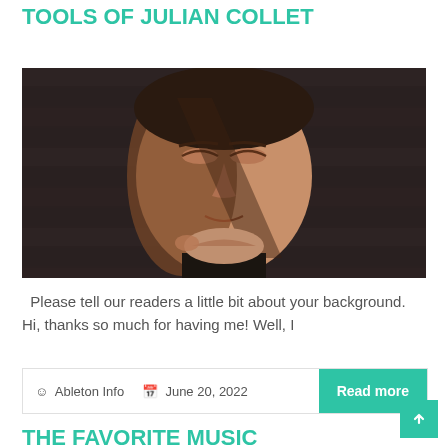THE FAVORITE MUSIC PRODUCTION TOOLS OF JULIAN COLLET
[Figure (photo): Close-up black and white style photo of a young man with eyes closed, face partially in shadow, hands near chin, dark background]
Please tell our readers a little bit about your background. Hi, thanks so much for having me! Well, I
Ableton Info   June 20, 2022
Read more
THE FAVORITE MUSIC PRODUCTION